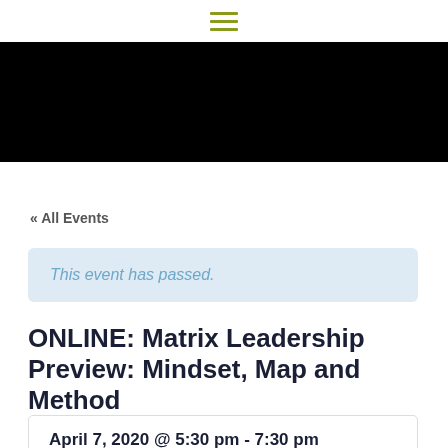≡
[Figure (other): Black banner image area]
« All Events
This event has passed.
ONLINE: Matrix Leadership Preview: Mindset, Map and Method
April 7, 2020 @ 5:30 pm - 7:30 pm